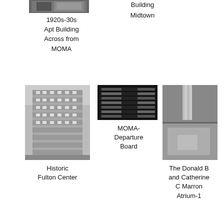[Figure (photo): Black and white photo of a building in Midtown, partially visible at top]
1920s-30s Apt Building Across from MOMA
[Figure (photo): Building in Midtown (caption only visible)]
Building Midtown
[Figure (photo): Black and white photo of Historic Fulton Center building]
[Figure (photo): Black and white photo of MOMA Departure Board display]
[Figure (photo): Black and white photo of The Donald B and Catherine C Marron Atrium]
Historic Fulton Center
MOMA-Departure Board
The Donald B and Catherine C Marron Atrium-1